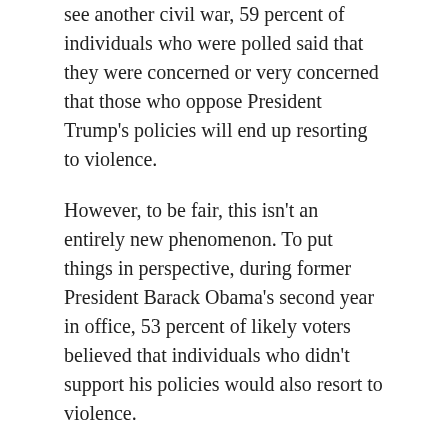see another civil war, 59 percent of individuals who were polled said that they were concerned or very concerned that those who oppose President Trump's policies will end up resorting to violence.
However, to be fair, this isn't an entirely new phenomenon. To put things in perspective, during former President Barack Obama's second year in office, 53 percent of likely voters believed that individuals who didn't support his policies would also resort to violence.
Luckily, it turned out that they were wrong.
The Rasmussen poll also revealed that 53 percent of voters worried that people who are critical of the news media's coverage of Trump would also become violent.
The animosity isn't likely to go away anytime soon. Working and middle-class Trump supporters are